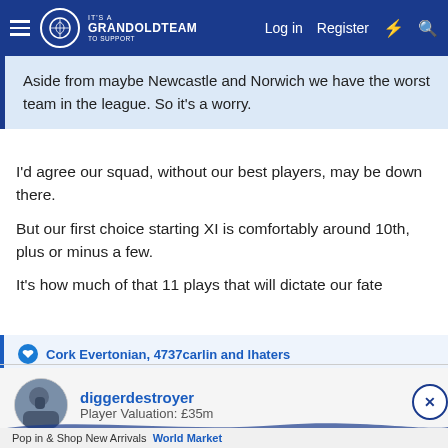IT'S A GRANDOLDTEAM TO SUPPORT | Log in | Register
Aside from maybe Newcastle and Norwich we have the worst team in the league. So it's a worry.
I'd agree our squad, without our best players, may be down there.

But our first choice starting XI is comfortably around 10th, plus or minus a few.

It's how much of that 11 plays that will dictate our fate
Cork Evertonian, 4737carlin and lhaters
diggerdestroyer
Player Valuation: £35m